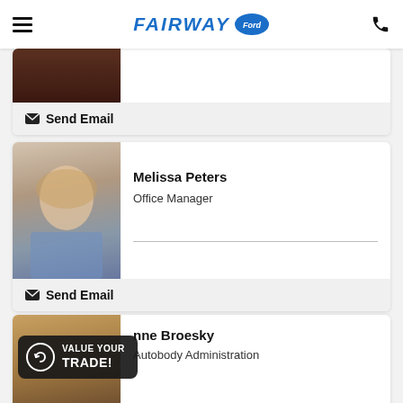FAIRWAY Ford
[Figure (photo): Partial staff card at top, showing bottom of photo and Send Email button]
Send Email
[Figure (photo): Photo of Melissa Peters, a woman with blonde hair wearing a denim jacket, standing in an office]
Melissa Peters
Office Manager
Send Email
[Figure (photo): Partial photo of a third staff member showing a VALUE YOUR TRADE! badge overlay]
nne Broesky
Autobody Administration